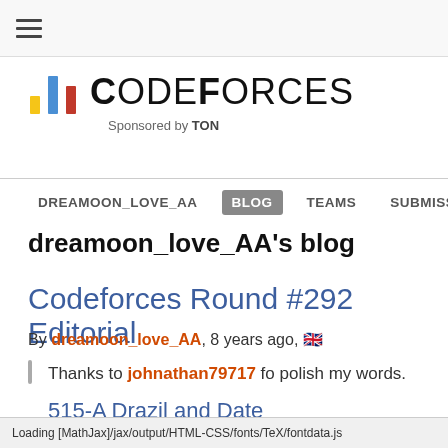☰ (hamburger menu)
[Figure (logo): Codeforces logo with colorful bar chart icon and text 'CODEFORCES Sponsored by TON']
DREAMOON_LOVE_AA  BLOG  TEAMS  SUBMISSIONS  GROUPS  CONTESTS
dreamoon_love_AA's blog
Codeforces Round #292 Editorial
By dreamoon_love_AA, 8 years ago, 🇬🇧
Thanks to johnathan79717 fo polish my words.
515-A Drazil and Date
Loading [MathJax]/jax/output/HTML-CSS/fonts/TeX/fontdata.js